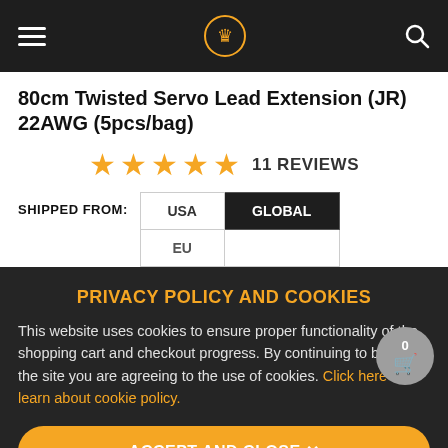[Figure (logo): Navigation bar with hamburger menu, crown logo in orange circle, and search icon on dark background]
80cm Twisted Servo Lead Extension (JR) 22AWG (5pcs/bag)
[Figure (other): 5 orange star rating icons]
11 REVIEWS
SHIPPED FROM:
| USA | GLOBAL |
| EU |  |
PRIVACY POLICY AND COOKIES
This website uses cookies to ensure proper functionality of the shopping cart and checkout progress. By continuing to browse the site you are agreeing to the use of cookies. Click here to learn about cookie policy.
ACCEPT AND CLOSE ✕